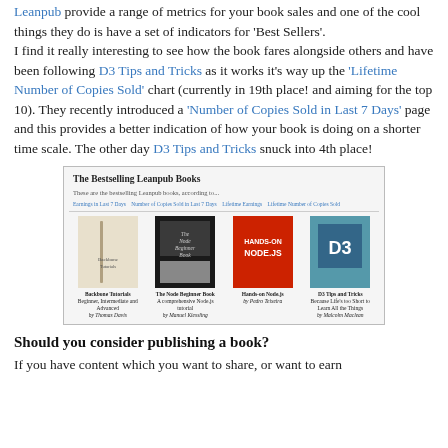Leanpub provide a range of metrics for your book sales and one of the cool things they do is have a set of indicators for 'Best Sellers'. I find it really interesting to see how the book fares alongside others and have been following D3 Tips and Tricks as it works it's way up the 'Lifetime Number of Copies Sold' chart (currently in 19th place! and aiming for the top 10). They recently introduced a 'Number of Copies Sold in Last 7 Days' page and this provides a better indication of how your book is doing on a shorter time scale. The other day D3 Tips and Tricks snuck into 4th place!
[Figure (screenshot): Screenshot of 'The Bestselling Leanpub Books' page showing four book covers in a row: Backbone Tutorials, The Node Beginner Book, Hands-On Node.js, and D3 Tips and Tricks]
Should you consider publishing a book?
If you have content which you want to share, or want to earn